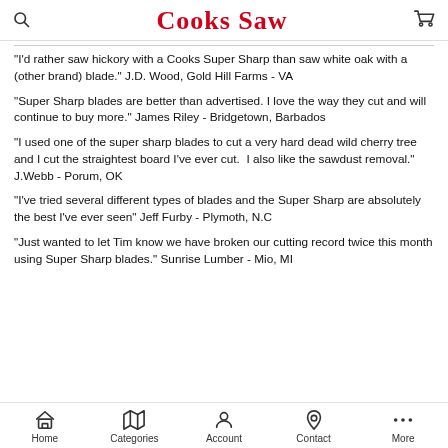Cooks Saw
"I'd rather saw hickory with a Cooks Super Sharp than saw white oak with a (other brand) blade." J.D. Wood, Gold Hill Farms - VA
"Super Sharp blades are better than advertised. I love the way they cut and will continue to buy more." James Riley - Bridgetown, Barbados
"I used one of the super sharp blades to cut a very hard dead wild cherry tree and I cut the straightest board I've ever cut.  I also like the sawdust removal."  J.Webb - Porum, OK
"I've tried several different types of blades and the Super Sharp are absolutely the best I've ever seen" Jeff Furby - Plymoth, N.C
"Just wanted to let Tim know we have broken our cutting record twice this month using Super Sharp blades." Sunrise Lumber - Mio, MI
Home  Categories  Account  Contact  More